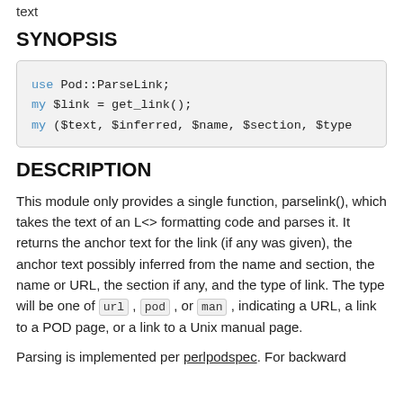text
SYNOPSIS
use Pod::ParseLink;
my $link = get_link();
my ($text, $inferred, $name, $section, $type
DESCRIPTION
This module only provides a single function, parselink(), which takes the text of an L<> formatting code and parses it. It returns the anchor text for the link (if any was given), the anchor text possibly inferred from the name and section, the name or URL, the section if any, and the type of link. The type will be one of url, pod, or man, indicating a URL, a link to a POD page, or a link to a Unix manual page.
Parsing is implemented per perlpodspec. For backward